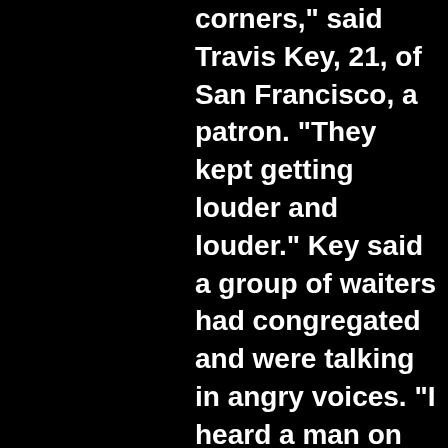corners," said Travis Key, 21, of San Francisco, a patron. "They kept getting louder and louder." Key said a group of waiters had congregated and were talking in angry voices. "I heard a man on the telephone telling one of the owners that the waiters were going to walk out because a man who worked there six years had been fired," Key said. "Then one of the waiters walked over to our table